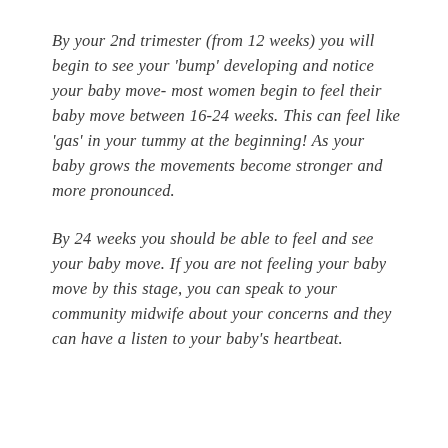By your 2nd trimester (from 12 weeks) you will begin to see your 'bump' developing and notice your baby move- most women begin to feel their baby move between 16-24 weeks. This can feel like 'gas' in your tummy at the beginning! As your baby grows the movements become stronger and more pronounced.
By 24 weeks you should be able to feel and see your baby move. If you are not feeling your baby move by this stage, you can speak to your community midwife about your concerns and they can have a listen to your baby's heartbeat.